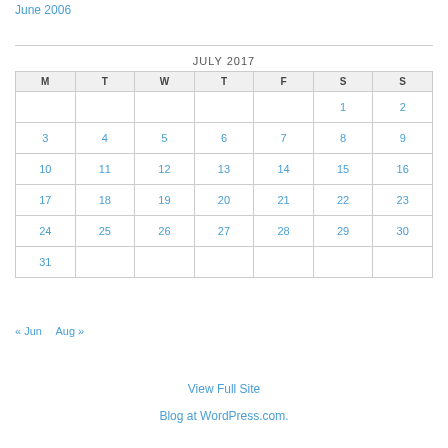June 2006
| M | T | W | T | F | S | S |
| --- | --- | --- | --- | --- | --- | --- |
|  |  |  |  |  | 1 | 2 |
| 3 | 4 | 5 | 6 | 7 | 8 | 9 |
| 10 | 11 | 12 | 13 | 14 | 15 | 16 |
| 17 | 18 | 19 | 20 | 21 | 22 | 23 |
| 24 | 25 | 26 | 27 | 28 | 29 | 30 |
| 31 |  |  |  |  |  |  |
« Jun  Aug »
View Full Site
Blog at WordPress.com.